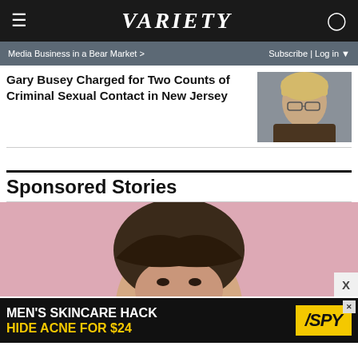Variety
Media Business in a Bear Market >
Subscribe | Log in
Gary Busey Charged for Two Counts of Criminal Sexual Contact in New Jersey
[Figure (photo): Photo of Gary Busey, an older man with blonde hair wearing glasses and a brown jacket]
Sponsored Stories
[Figure (photo): Photo of a young woman with brown hair against a pink background]
[Figure (advertisement): Advertisement: MEN'S SKINCARE HACK HIDE ACNE FOR $24 - SPY logo]